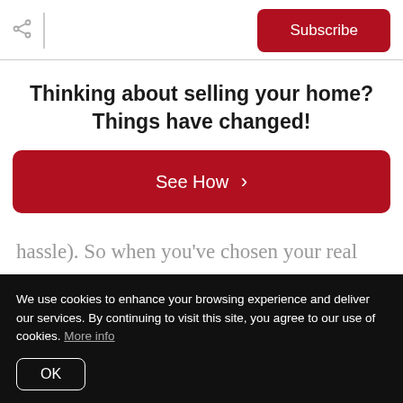Subscribe
Thinking about selling your home? Things have changed!
See How ›
hassle). So when you've chosen your real estate agent, you are already working with
We use cookies to enhance your browsing experience and deliver our services. By continuing to visit this site, you agree to our use of cookies. More info
OK